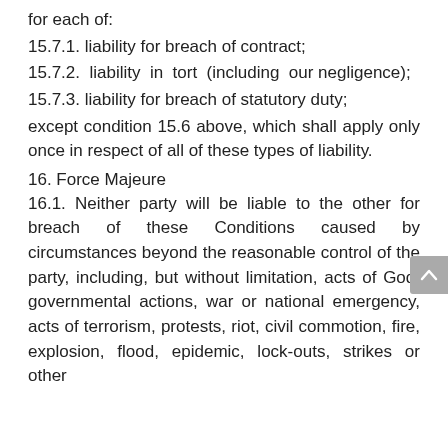for each of:
15.7.1. liability for breach of contract;
15.7.2. liability in tort (including our negligence);
15.7.3. liability for breach of statutory duty;
except condition 15.6 above, which shall apply only once in respect of all of these types of liability.
16. Force Majeure
16.1. Neither party will be liable to the other for breach of these Conditions caused by circumstances beyond the reasonable control of the party, including, but without limitation, acts of God, governmental actions, war or national emergency, acts of terrorism, protests, riot, civil commotion, fire, explosion, flood, epidemic, lock-outs, strikes or other